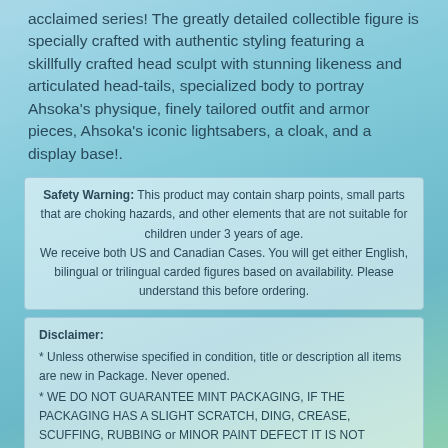acclaimed series! The greatly detailed collectible figure is specially crafted with authentic styling featuring a skillfully crafted head sculpt with stunning likeness and articulated head-tails, specialized body to portray Ahsoka's physique, finely tailored outfit and armor pieces, Ahsoka's iconic lightsabers, a cloak, and a display base!.
Safety Warning: This product may contain sharp points, small parts that are choking hazards, and other elements that are not suitable for children under 3 years of age. We receive both US and Canadian Cases. You will get either English, bilingual or trilingual carded figures based on availability. Please understand this before ordering.
Disclaimer: * Unless otherwise specified in condition, title or description all items are new in Package. Never opened. * WE DO NOT GUARANTEE MINT PACKAGING, IF THE PACKAGING HAS A SLIGHT SCRATCH, DING, CREASE, SCUFFING, RUBBING or MINOR PAINT DEFECT IT IS NOT SUBJECT TO A RETURN OR EXCHANGE. * If you want VERY GOOD to NEAR MINT PACKAGING please click on the premium packing checkbox at checkout for an additional fee. * All pictures shown on the website may not be final and may differ slightly on the final product.